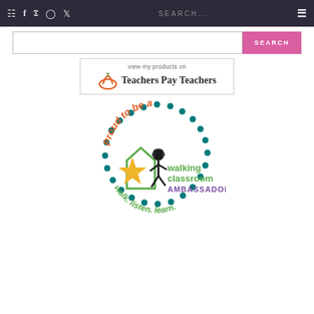Navigation bar with cart, Facebook, Pinterest, Instagram, Twitter icons, SEARCH input, and menu button
[Figure (screenshot): Search bar with text input and pink SEARCH button]
[Figure (logo): Teachers Pay Teachers badge: 'view my products on Teachers Pay Teachers' with apple logo]
[Figure (illustration): Walking Classroom Ambassador badge: circular dotted teal border, 'Proud to be a' in orange arc text, walking figure with star, 'walking classroom AMBASSADOR' in green/purple, 'walk. listen. learn.' at bottom]